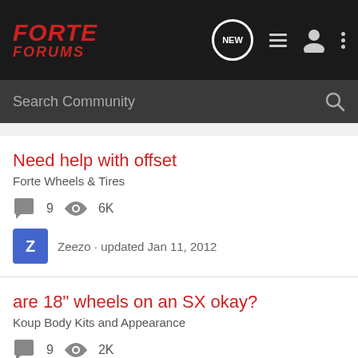FORTE FORUMS
Search Community
Need help with offset
Forte Wheels & Tires
9   6K
Zeezo · updated Jan 11, 2012
are 18" wheels on an SX okay?
Koup Body Kits and Appearance
9   2K
figuerado · updated Mar 1, 2018